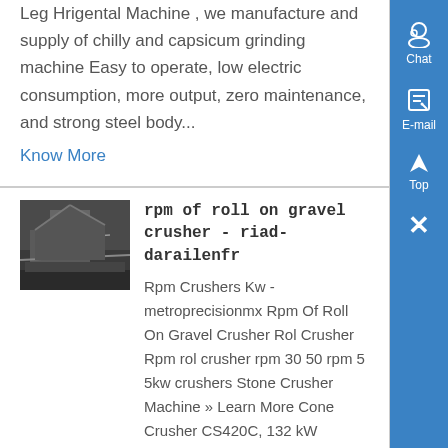Leg Hrigental Machine , we manufacture and supply of chilly and capsicum grinding machine Easy to operate, low electric consumption, more output, zero maintenance, and strong steel body...
Know More
[Figure (photo): A photo of an industrial crusher or gravel processing machine]
rpm of roll on gravel crusher - riad-darailenfr
Rpm Crushers Kw - metroprecisionmx Rpm Of Roll On Gravel Crusher Rol Crusher Rpm rol crusher rpm 30 50 rpm 5 5kw crushers Stone Crusher Machine » Learn More Cone Crusher CS420C, 132 kW impactplantlmdat 30 50 Rpm Crusher 5 5 Kw 30 50 rpm crusher 5 5